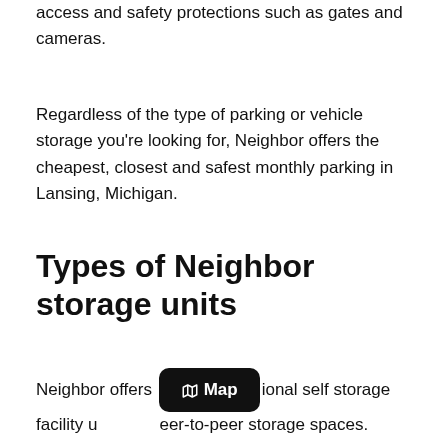access and safety protections such as gates and cameras.
Regardless of the type of parking or vehicle storage you're looking for, Neighbor offers the cheapest, closest and safest monthly parking in Lansing, Michigan.
Types of Neighbor storage units
Neighbor offers traditional self storage facility units and peer-to-peer storage spaces.